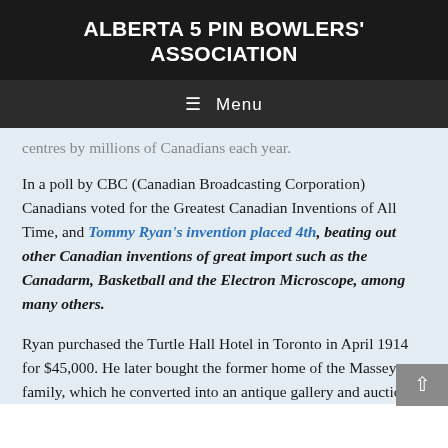ALBERTA 5 PIN BOWLERS' ASSOCIATION
≡ Menu
centres by millions of Canadians each year.
In a poll by CBC (Canadian Broadcasting Corporation) Canadians voted for the Greatest Canadian Inventions of All Time, and Tommy Ryan's invention placed 4th, beating out other Canadian inventions of great import such as the Canadarm, Basketball and the Electron Microscope, among many others.
Ryan purchased the Turtle Hall Hotel in Toronto in April 1914 for $45,000. He later bought the former home of the Massey family, which he converted into an antique gallery and auction